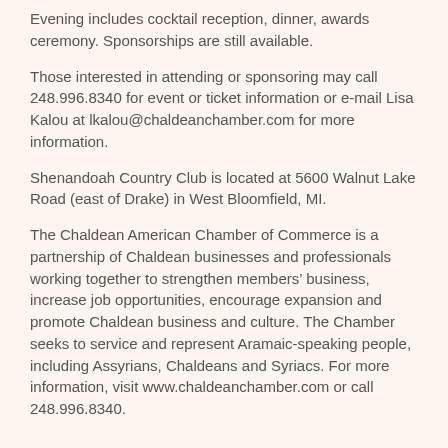Evening includes cocktail reception, dinner, awards ceremony. Sponsorships are still available.
Those interested in attending or sponsoring may call 248.996.8340 for event or ticket information or e-mail Lisa Kalou at lkalou@chaldeanchamber.com for more information.
Shenandoah Country Club is located at 5600 Walnut Lake Road (east of Drake) in West Bloomfield, MI.
The Chaldean American Chamber of Commerce is a partnership of Chaldean businesses and professionals working together to strengthen members' business, increase job opportunities, encourage expansion and promote Chaldean business and culture. The Chamber seeks to service and represent Aramaic-speaking people, including Assyrians, Chaldeans and Syriacs. For more information, visit www.chaldeanchamber.com or call 248.996.8340.